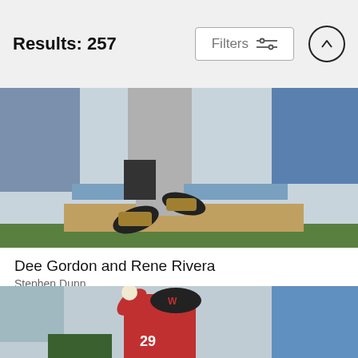Results: 257
[Figure (photo): Baseball action photo showing players legs mid-air, Dee Gordon and Rene Rivera, with stadium crowd in background]
Dee Gordon and Rene Rivera
Stephen Dunn
$9.62
[Figure (photo): Baseball pitcher in red Washington Nationals uniform winding up for a pitch, number 29, crowd in background]